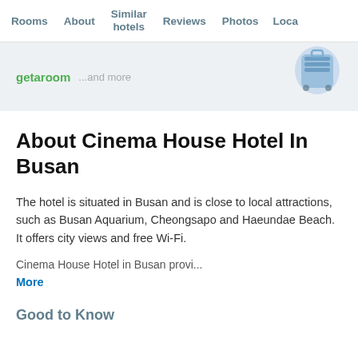Rooms  About  Similar hotels  Reviews  Photos  Loca...
[Figure (other): Banner advertisement area showing getaroom logo and '...and more' text with a decorative luggage/travel illustration on the right side, on a light blue-gray background]
About Cinema House Hotel In Busan
The hotel is situated in Busan and is close to local attractions, such as Busan Aquarium, Cheongsapo and Haeundae Beach. It offers city views and free Wi-Fi.
Cinema House Hotel in Busan provi...
More
Good to Know